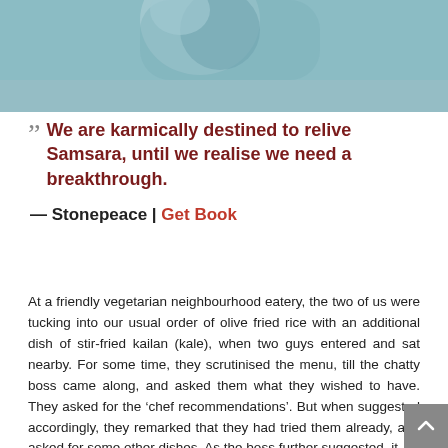[Figure (photo): Top portion of a photo with light blue/teal background, appears to be a partial overhead shot]
“ We are karmically destined to relive Samsara, until we realise we need a breakthrough.
— Stonepeace | Get Book
At a friendly vegetarian neighbourhood eatery, the two of us were tucking into our usual order of olive fried rice with an additional dish of stir-fried kailan (kale), when two guys entered and sat nearby. For some time, they scrutinised the menu, till the chatty boss came along, and asked them what they wished to have. They asked for the ‘chef recommendations’. But when suggested accordingly, they remarked that they had tried them already, and asked for some other dishes. As the boss further suggested, it